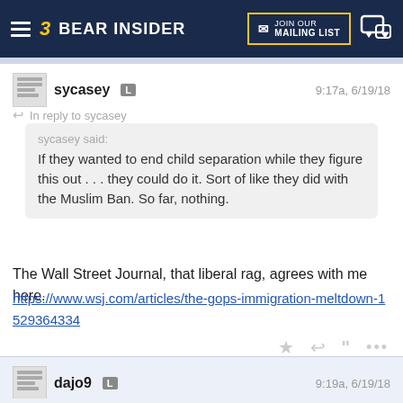3 BEAR INSIDER — JOIN OUR MAILING LIST
sycasey L  9:17a, 6/19/18
In reply to sycasey
sycasey said: If they wanted to end child separation while they figure this out . . . they could do it. Sort of like they did with the Muslim Ban. So far, nothing.
The Wall Street Journal, that liberal rag, agrees with me here.
https://www.wsj.com/articles/the-gops-immigration-meltdown-1529364334
dajo9 L  9:19a, 6/19/18
oski003,
1) It's Trump policy to handle the legal rulings in this way
2) It's inhumane of you to try to justify separating children from their parents. This makes you a bad person. No fear, people (even you)